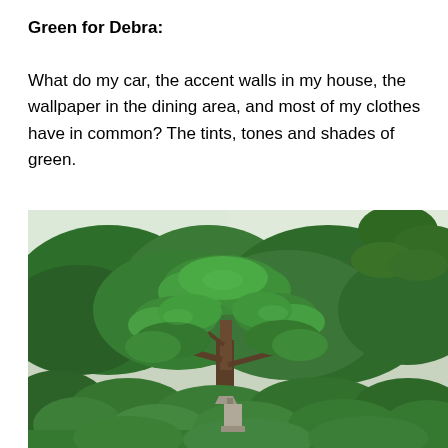Green for Debra:
What do my car, the accent walls in my house, the wallpaper in the dining area, and most of my clothes have in common? The tints, tones and shades of green.
[Figure (photo): A lush Japanese garden scene featuring a large, intricately pruned pine bonsai-style tree in the center with layered, cloud-like green canopy. Surrounding it are dense green trees and manicured shrubs. In the lower center, a traditional stone lantern is partially visible among the bushes. The sky is light/overcast, and pine branches with needles are visible from the right edge.]